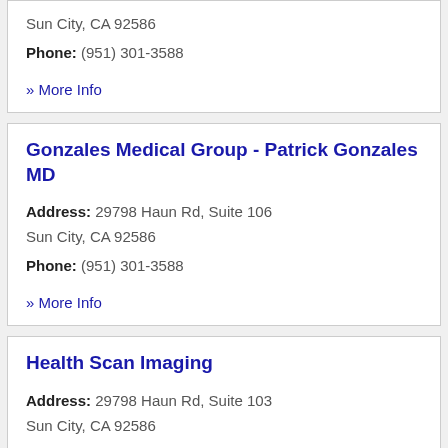Sun City, CA 92586
Phone: (951) 301-3588
» More Info
Gonzales Medical Group - Patrick Gonzales MD
Address: 29798 Haun Rd, Suite 106 Sun City, CA 92586
Phone: (951) 301-3588
» More Info
Health Scan Imaging
Address: 29798 Haun Rd, Suite 103
Sun City, CA 92586